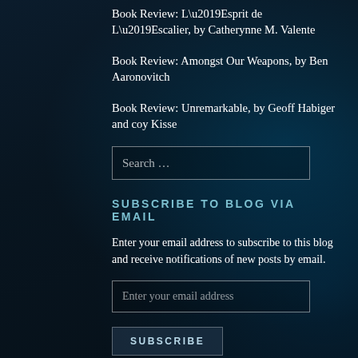Book Review: L’Esprit de L’Escalier, by Catherynne M. Valente
Book Review: Amongst Our Weapons, by Ben Aaronovitch
Book Review: Unremarkable, by Geoff Habiger and coy Kisse
Search …
SUBSCRIBE TO BLOG VIA EMAIL
Enter your email address to subscribe to this blog and receive notifications of new posts by email.
Enter your email address
SUBSCRIBE
Join 36,023 other followers